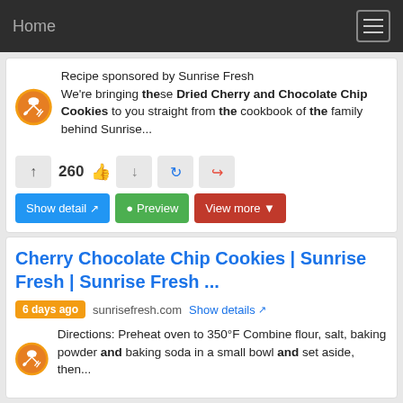Home
Recipe sponsored by Sunrise Fresh We're bringing these Dried Cherry and Chocolate Chip Cookies to you straight from the cookbook of the family behind Sunrise...
260
Show detail  Preview  View more
Cherry Chocolate Chip Cookies | Sunrise Fresh | Sunrise Fresh ...
6 days ago  sunrisefresh.com  Show details
Directions: Preheat oven to 350°F Combine flour, salt, baking powder and baking soda in a small bowl and set aside, then... (truncated)